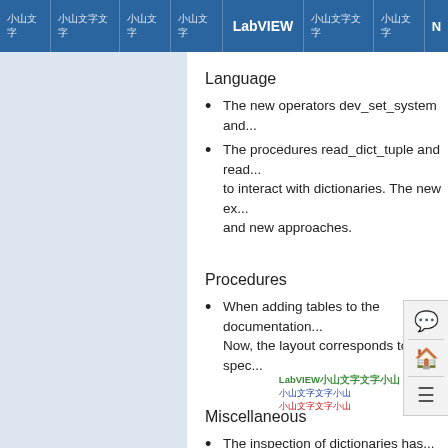Navigation bar with tabs including LabVIEW (active)
Language
The new operators dev_set_system and...
The procedures read_dict_tuple and read... to interact with dictionaries. The new ex... and new approaches.
Procedures
When adding tables to the documentation... Now, the layout corresponds to the spec...
Miscellaneous
The inspection of dictionaries has... window opens a handle inspect widget.
HALCON now officially supports macO... executable on Apple Silicon processors...
HDevelop has been extended with a fee... menu bar.